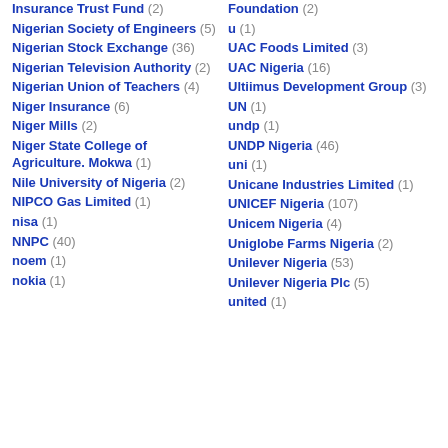Insurance Trust Fund (2)
Nigerian Society of Engineers (5)
Nigerian Stock Exchange (36)
Nigerian Television Authority (2)
Nigerian Union of Teachers (4)
Niger Insurance (6)
Niger Mills (2)
Niger State College of Agriculture. Mokwa (1)
Nile University of Nigeria (2)
NIPCO Gas Limited (1)
nisa (1)
NNPC (40)
noem (1)
nokia (1)
Foundation (2)
u (1)
UAC Foods Limited (3)
UAC Nigeria (16)
Ultiimus Development Group (3)
UN (1)
undp (1)
UNDP Nigeria (46)
uni (1)
Unicane Industries Limited (1)
UNICEF Nigeria (107)
Unicem Nigeria (4)
Uniglobe Farms Nigeria (2)
Unilever Nigeria (53)
Unilever Nigeria Plc (5)
united (1)